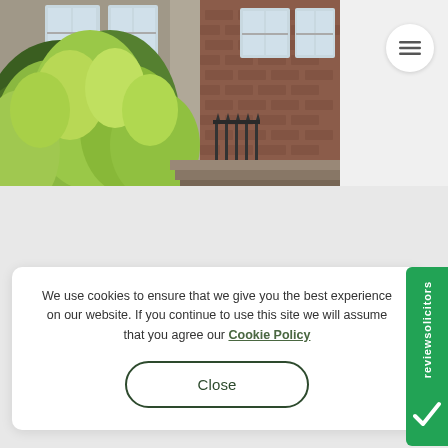[Figure (photo): Exterior photo of a brick terraced house with lush green foliage/plants in the foreground and sash windows visible]
We use cookies to ensure that we give you the best experience on our website. If you continue to use this site we will assume that you agree our Cookie Policy
Close